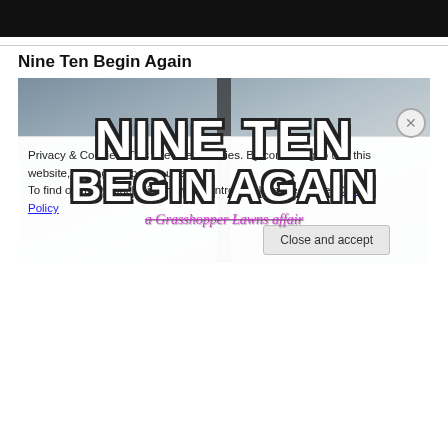[Figure (photo): Black bar at top representing a dark header/video image]
Nine Ten Begin Again
[Figure (photo): Movie/show title card image for 'Nine Ten Begin Again - a Grasshopper Lawns affair', white bold lettering with dark outline on grey sky background, with dark vertical pillar. Cookie consent banner overlays the bottom of the image.]
Privacy & Cookies: This site uses cookies. By continuing to use this website, you agree to their use.
To find out more, including how to control cookies, see here: Cookie Policy
Close and accept